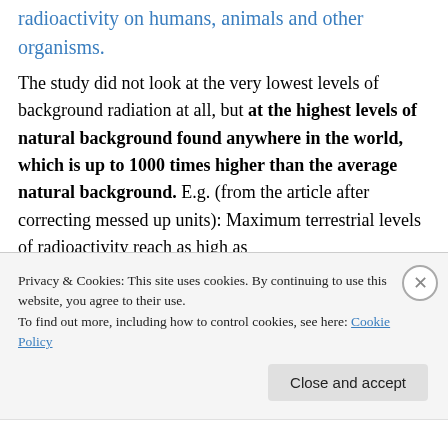radioactivity on humans, animals and other organisms.
The study did not look at the very lowest levels of background radiation at all, but at the highest levels of natural background found anywhere in the world, which is up to 1000 times higher than the average natural background. E.g. (from the article after correcting messed up units): Maximum terrestrial levels of radioactivity reach as high as
29.7 microSv/h in Ramsar Iran, (red)
Privacy & Cookies: This site uses cookies. By continuing to use this website, you agree to their use.
To find out more, including how to control cookies, see here: Cookie Policy